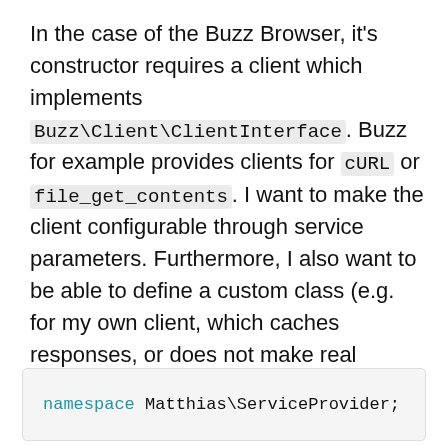In the case of the Buzz Browser, it's constructor requires a client which implements Buzz\Client\ClientInterface. Buzz for example provides clients for cURL or file_get_contents. I want to make the client configurable through service parameters. Furthermore, I also want to be able to define a custom class (e.g. for my own client, which caches responses, or does not make real requests at all). This is how I did it:
namespace Matthias\ServiceProvider;